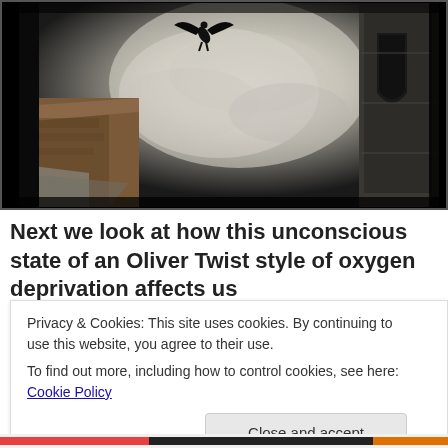[Figure (illustration): A dark fantasy illustration showing a winged figure (angel or bird) flying above rocky cliffs and ancient stone architecture, with dramatic smoky/cloudy sky background.]
Next we look at how this unconscious state of an Oliver Twist style of oxygen deprivation affects us
Privacy & Cookies: This site uses cookies. By continuing to use this website, you agree to their use.
To find out more, including how to control cookies, see here: Cookie Policy
Close and accept